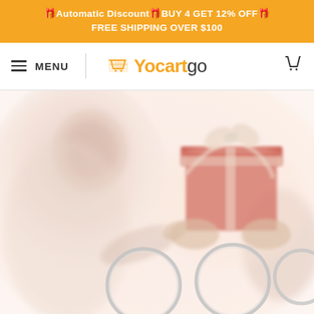🎁Automatic Discount🎁BUY 4 GET 12% OFF🎁
FREE SHIPPING OVER $100
[Figure (logo): Yocartgo logo with shopping cart icon in orange and text Yocartgo]
[Figure (photo): Hero banner image showing a smiling girl reaching out with thumb up on left, hands holding a red gift box with silver ribbon in center, and silver keyrings with engraved pendants in the lower center area. Soft light background.]